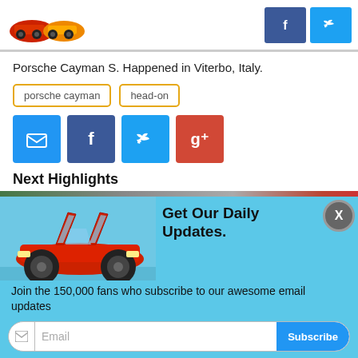[Figure (screenshot): Website header with car crash logo on left and Facebook/Twitter social buttons on right]
Porsche Cayman S. Happened in Viterbo, Italy.
porsche cayman
head-on
[Figure (infographic): Four social sharing buttons: email (blue), Facebook (dark blue), Twitter (light blue), Google+ (red)]
Next Highlights
[Figure (infographic): Popup overlay with red sports car image, 'Get Our Daily Updates.' title, subscription text and email input with Subscribe button]
Join the 150,000 fans who subscribe to our awesome email updates